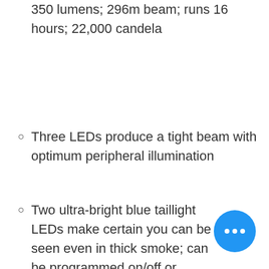350 lumens; 296m beam; runs 16 hours; 22,000 candela
Three LEDs produce a tight beam with optimum peripheral illumination
Two ultra-bright blue taillight LEDs make certain you can be seen even in thick smoke; can be programmed on/off or flashing
Optimized electronics provide regulated intensity
Large, multi-function, push-button switch easy to use with gloved hands
Rechargeable lithium Ion